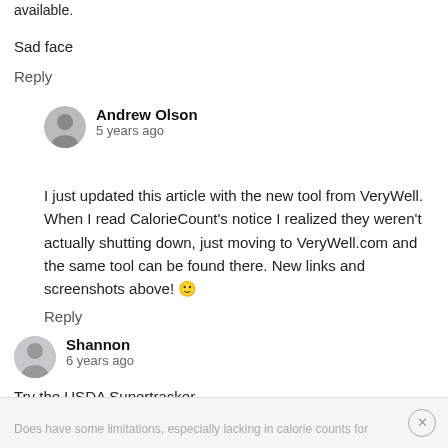available.
Sad face
Reply
Andrew Olson
5 years ago
I just updated this article with the new tool from VeryWell. When I read CalorieCount's notice I realized they weren't actually shutting down, just moving to VeryWell.com and the same tool can be found there. New links and screenshots above! 🙂
Reply
Shannon
6 years ago
Try the USDA Supertracker
https://www.supertracker.usda.gov/myrecipe.aspx
Does have some limitations, especially lacking in calorie counts for